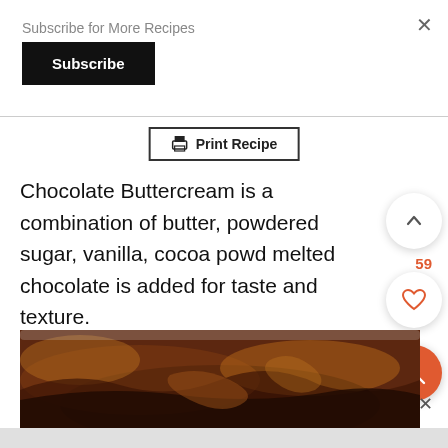Subscribe for More Recipes
Subscribe
Print Recipe
Chocolate Buttercream is a combination of butter, powdered sugar, vanilla, cocoa powd melted chocolate is added for taste and texture.
59
[Figure (photo): Close-up of chocolate buttercream frosting in a bowl, showing rich dark chocolate swirls]